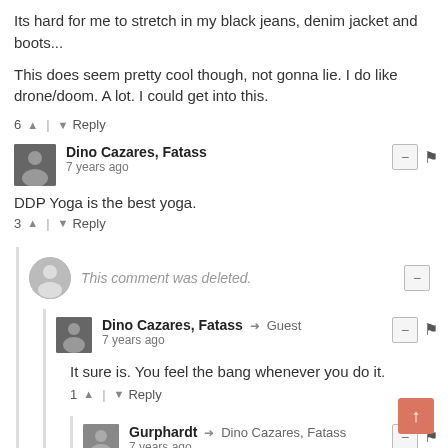Its hard for me to stretch in my black jeans, denim jacket and boots...
This does seem pretty cool though, not gonna lie. I do like drone/doom. A lot. I could get into this.
6 ↑ | ↓ Reply
Dino Cazares, Fatass
7 years ago
DDP Yoga is the best yoga.
3 ↑ | ↓ Reply
This comment was deleted.
Dino Cazares, Fatass → Guest
7 years ago
It sure is. You feel the bang whenever you do it.
1 ↑ | ↓ Reply
Gurphardt → Dino Cazares, Fatass
7 years ago
Is that similar to the burn?